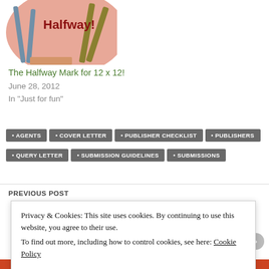[Figure (illustration): Partial view of a colorful illustration with 'Halfway!' text in dark red bold font, showing decorative shapes and lines on a pink/orange background]
The Halfway Mark for 12 x 12!
June 28, 2012
In "Just for fun"
AGENTS
COVER LETTER
PUBLISHER CHECKLIST
PUBLISHERS
QUERY LETTER
SUBMISSION GUIDELINES
SUBMISSIONS
PREVIOUS POST
Privacy & Cookies: This site uses cookies. By continuing to use this website, you agree to their use.
To find out more, including how to control cookies, see here: Cookie Policy
Close and accept